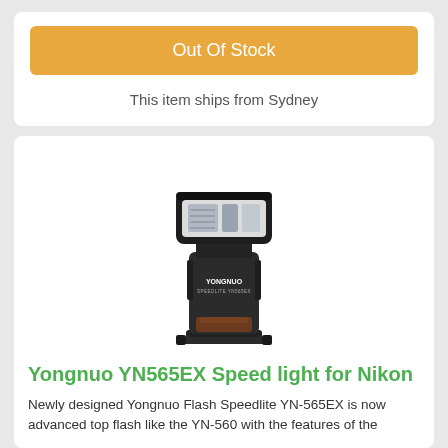Out Of Stock
This item ships from Sydney
[Figure (photo): Yongnuo YN565EX Speedlite flash unit for Nikon, black with white flash head, on a white background]
Yongnuo YN565EX Speed light for Nikon
Newly designed Yongnuo Flash Speedlite YN-565EX is now advanced top flash like the YN-560 with the features of the